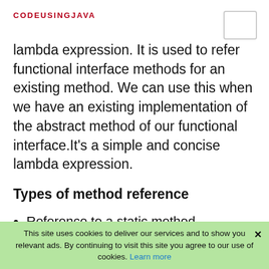CODEUSINGJAVA
lambda expression. It is used to refer functional interface methods for an existing method. We can use this when we have an existing implementation of the abstract method of our functional interface.It's a simple and concise lambda expression.
Types of method reference
Reference to a static method.
Reference to an instance method.
Reference to a constructor.
This site uses cookies to deliver our services and to show you relevant ads. By continuing to visit this site you agree to our use of cookies. Learn more